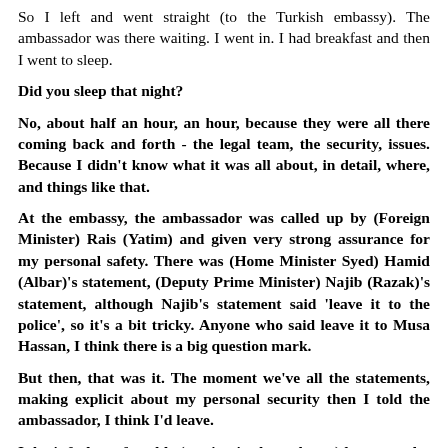So I left and went straight (to the Turkish embassy). The ambassador was there waiting. I went in. I had breakfast and then I went to sleep.
Did you sleep that night?
No, about half an hour, an hour, because they were all there coming back and forth - the legal team, the security, issues. Because I didn't know what it was all about, in detail, where, and things like that.
At the embassy, the ambassador was called up by (Foreign Minister) Rais (Yatim) and given very strong assurance for my personal safety. There was (Home Minister Syed) Hamid (Albar)'s statement, (Deputy Prime Minister) Najib (Razak)'s statement, although Najib's statement said 'leave it to the police', so it's a bit tricky. Anyone who said leave it to Musa Hassan, I think there is a big question mark.
But then, that was it. The moment we've all the statements, making explicit about my personal security then I told the ambassador, I think I'd leave.
I don't feel comfortable (staying in the embassy) because a lot of things you're not able to do. Unless you decide to seek political asylum, that's normal. If you don't, you have to be